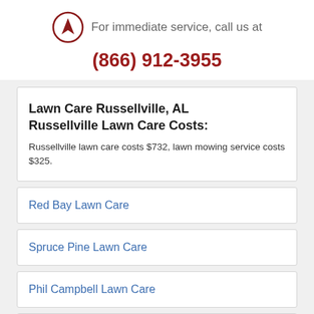[Figure (logo): Circle with arrow/navigation logo in dark red]
For immediate service, call us at
(866) 912-3955
Lawn Care Russellville, AL Russellville Lawn Care Costs:
Russellville lawn care costs $732, lawn mowing service costs $325.
Red Bay Lawn Care
Spruce Pine Lawn Care
Phil Campbell Lawn Care
Vina Lawn Care